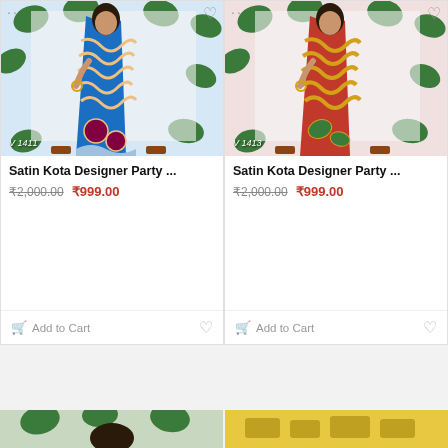[Figure (photo): Woman wearing blue Satin Kota Designer Party saree with zigzag patterns, standing in front of white background with green leaf decorations. Watermark V 1411.]
Satin Kota Designer Party ...
₹2,000.00  ₹999.00
Add to Cart
[Figure (photo): Woman wearing red and gold Satin Kota Designer Party saree with zigzag patterns, standing in front of white background with green leaf decorations. Watermark V 1413.]
Satin Kota Designer Party ...
₹2,000.00  ₹999.00
Add to Cart